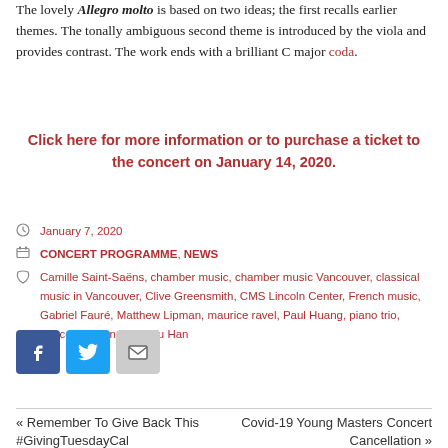The lovely Allegro molto is based on two ideas; the first recalls earlier themes. The tonally ambiguous second theme is introduced by the viola and provides contrast. The work ends with a brilliant C major coda.
Click here for more information or to purchase a ticket to the concert on January 14, 2020.
January 7, 2020
CONCERT PROGRAMME, NEWS
Camille Saint-Saëns, chamber music, chamber music Vancouver, classical music in Vancouver, Clive Greensmith, CMS Lincoln Center, French music, Gabriel Fauré, Matthew Lipman, maurice ravel, Paul Huang, piano trio, Vancouver concerts, Wu Han
[Figure (infographic): Social media sharing buttons: Facebook (blue), Twitter (light blue), Email (grey)]
« Remember To Give Back This #GivingTuesdayCal
Covid-19 Young Masters Concert Cancellation »